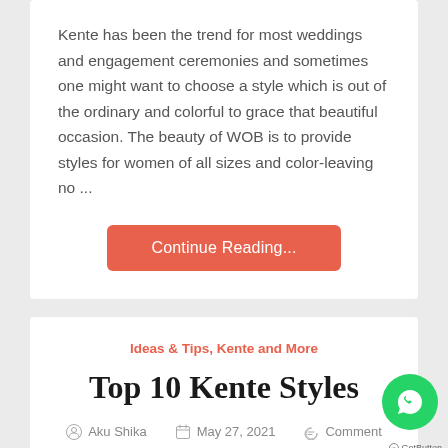Kente has been the trend for most weddings and engagement ceremonies and sometimes one might want to choose a style which is out of the ordinary and colorful to grace that beautiful occasion. The beauty of WOB is to provide styles for women of all sizes and color-leaving no ...
Continue Reading...
Ideas & Tips, Kente and More
Top 10 Kente Styles
Aku Shika   May 27, 2021   Comment